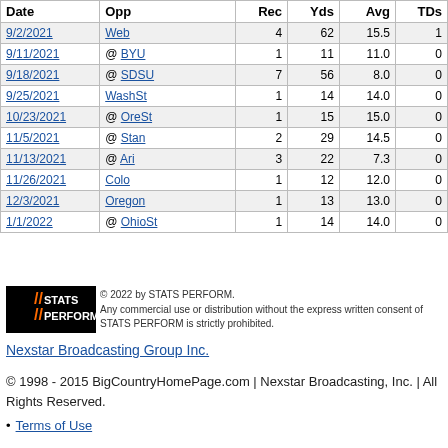| Date | Opp | Rec | Yds | Avg | TDs |
| --- | --- | --- | --- | --- | --- |
| 9/2/2021 | Web | 4 | 62 | 15.5 | 1 |
| 9/11/2021 | @ BYU | 1 | 11 | 11.0 | 0 |
| 9/18/2021 | @ SDSU | 7 | 56 | 8.0 | 0 |
| 9/25/2021 | WashSt | 1 | 14 | 14.0 | 0 |
| 10/23/2021 | @ OreSt | 1 | 15 | 15.0 | 0 |
| 11/5/2021 | @ Stan | 2 | 29 | 14.5 | 0 |
| 11/13/2021 | @ Ari | 3 | 22 | 7.3 | 0 |
| 11/26/2021 | Colo | 1 | 12 | 12.0 | 0 |
| 12/3/2021 | Oregon | 1 | 13 | 13.0 | 0 |
| 1/1/2022 | @ OhioSt | 1 | 14 | 14.0 | 0 |
[Figure (logo): STATS PERFORM logo]
© 2022 by STATS PERFORM. Any commercial use or distribution without the express written consent of STATS PERFORM is strictly prohibited.
Nexstar Broadcasting Group Inc.
© 1998 - 2015 BigCountryHomePage.com | Nexstar Broadcasting, Inc. | All Rights Reserved.
Terms of Use